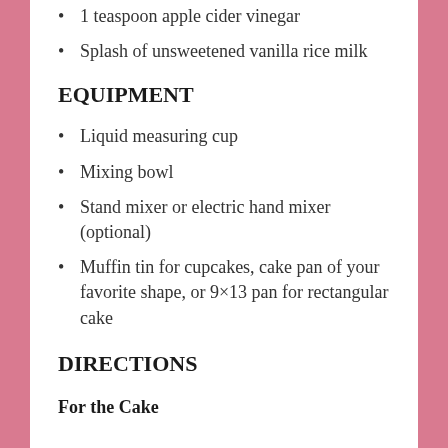1 teaspoon apple cider vinegar
Splash of unsweetened vanilla rice milk
EQUIPMENT
Liquid measuring cup
Mixing bowl
Stand mixer or electric hand mixer (optional)
Muffin tin for cupcakes, cake pan of your favorite shape, or 9×13 pan for rectangular cake
DIRECTIONS
For the Cake